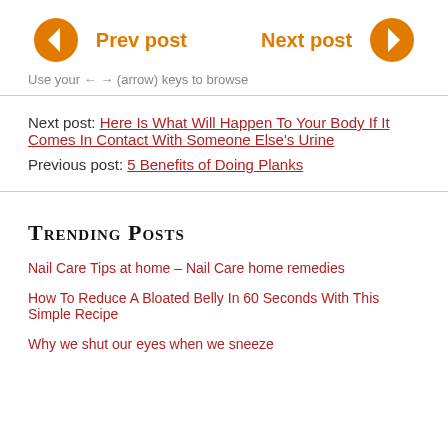[Figure (other): Navigation buttons: orange left arrow circle labeled 'Prev post' and orange right arrow circle labeled 'Next post']
Use your ← → (arrow) keys to browse
Next post: Here Is What Will Happen To Your Body If It Comes In Contact With Someone Else's Urine
Previous post: 5 Benefits of Doing Planks
Trending Posts
Nail Care Tips at home – Nail Care home remedies
How To Reduce A Bloated Belly In 60 Seconds With This Simple Recipe
Why we shut our eyes when we sneeze